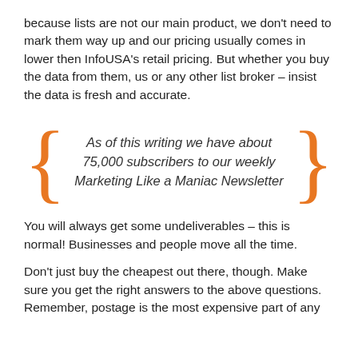because lists are not our main product, we don't need to mark them way up and our pricing usually comes in lower then InfoUSA's retail pricing. But whether you buy the data from them, us or any other list broker – insist the data is fresh and accurate.
[Figure (infographic): Orange curly braces on left and right surrounding italic text: As of this writing we have about 75,000 subscribers to our weekly Marketing Like a Maniac Newsletter]
You will always get some undeliverables – this is normal! Businesses and people move all the time.
Don't just buy the cheapest out there, though. Make sure you get the right answers to the above questions. Remember, postage is the most expensive part of any